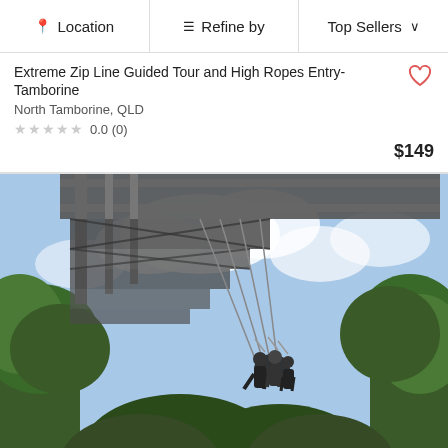Location | Refine by | Top Sellers
Extreme Zip Line Guided Tour and High Ropes Entry- Tamborine
North Tamborine, QLD
0.0 (0)
$149
[Figure (photo): People on a giant swing/zip line suspended from a large metal tower structure above a rainforest canopy, with cloudy sky in background. Located at Skypark Cairns.]
Skypark Cairns Walk the Plank and Giant Swing C...